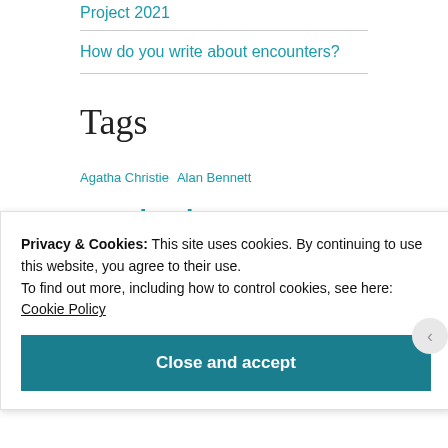Project 2021
How do you write about encounters?
Tags
Agatha Christie  Alan Bennett  anthology  Arthur Ransome  article  authors  bird  Bloodaxe  blurb  Book Festival  Books  Bookshops  C.S.Lewis
Privacy & Cookies: This site uses cookies. By continuing to use this website, you agree to their use. To find out more, including how to control cookies, see here: Cookie Policy
Close and accept